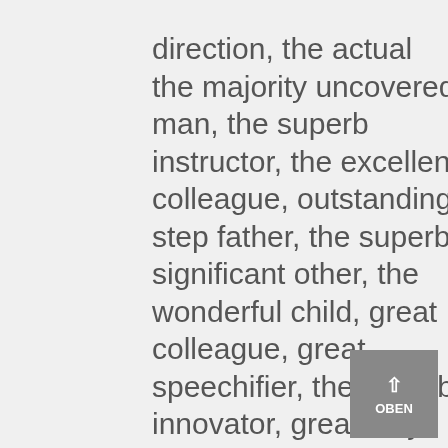direction, the actual the majority uncovered man, the superb instructor, the excellent colleague, outstanding step father, the superb significant other, the wonderful child, great colleague, great speechifier, the superb innovator, great holy man, some people fantastic people, fantastic handmaiden &